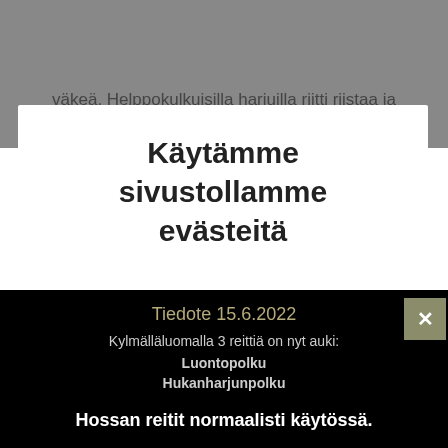väkeä. Helppokulkuisilla harjuilla riitti riistaa ja kirkkaissa vesissä kaloja. Hossalla on ollut
Käytämme sivustollamme evästeitä
Tiedote 15.6.2022
Kylmälläluomalla 3 reittiä on nyt auki:
Luontopolku
Hukanharjunpolku
Kivikkovaaranpolku
Mökkikylässä maisemointityöt jatkuvat.
Hossan reitit normaalisti käytössä.